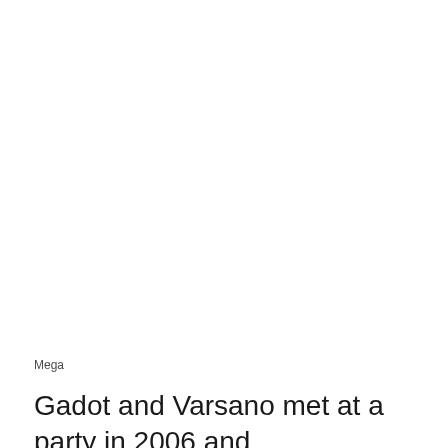Mega
Gadot and Varsano met at a party in 2006 and